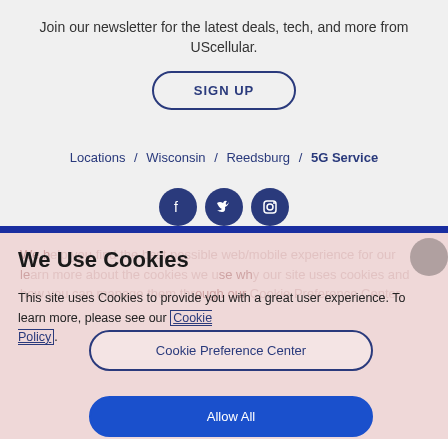Join our newsletter for the latest deals, tech, and more from UScellular.
SIGN UP
Locations / Wisconsin / Reedsburg / 5G Service
[Figure (other): Three circular social media icons (Facebook, Twitter, Instagram) in dark blue]
We Use Cookies
This site uses Cookies to provide you with a great user experience. To learn more, please see our Cookie Policy.
Cookie Preference Center
Allow All